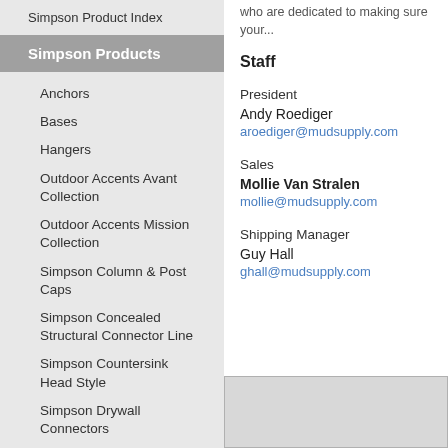Simpson Product Index
Simpson Products
Anchors
Bases
Hangers
Outdoor Accents Avant Collection
Outdoor Accents Mission Collection
Simpson Column & Post Caps
Simpson Concealed Structural Connector Line
Simpson Countersink Head Style
Simpson Drywall Connectors
Simpson Fasteners
Simpson Post Caps
who are dedicated to making sure your...
Staff
President
Andy Roediger
aroediger@mudsupply.com
Sales
Mollie Van Stralen
mollie@mudsupply.com
Shipping Manager
Guy Hall
ghall@mudsupply.com
[Figure (photo): Gray image box at bottom right]